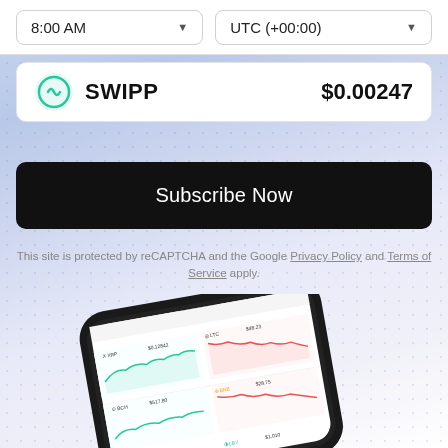8:00 AM
UTC (+00:00)
SWIPP   $0.00247
Subscribe Now
This site is protected by reCAPTCHA and the Google Privacy Policy and Terms of Service apply.
[Figure (screenshot): Screenshot of a cryptocurrency tracking mobile app showing price charts for multiple coins including XRP, LTC, BCH, BNB, EOS and others, displayed on a smartphone.]